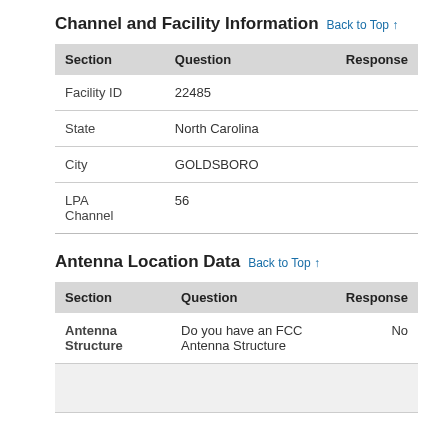Channel and Facility Information Back to Top ↑
| Section | Question | Response |
| --- | --- | --- |
| Facility ID | 22485 |  |
| State | North Carolina |  |
| City | GOLDSBORO |  |
| LPA Channel | 56 |  |
Antenna Location Data Back to Top ↑
| Section | Question | Response |
| --- | --- | --- |
| Antenna Structure | Do you have an FCC Antenna Structure | No |